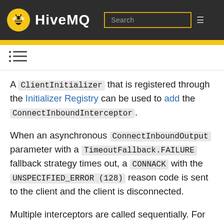HiveMQ
[Figure (logo): HiveMQ logo with bee icon in yellow circle and HIVEMQ text in white on dark background, with a search box and hamburger menu]
A ClientInitializer that is registered through the Initializer Registry can be used to add the ConnectInboundInterceptor.
When an asynchronous ConnectInboundOutput parameter with a TimeoutFallback.FAILURE fallback strategy times out, a CONNACK with the UNSPECIFIED_ERROR (128) reason code is sent to the client and the client is disconnected.
Multiple interceptors are called sequentially. For example, when various extensions provide